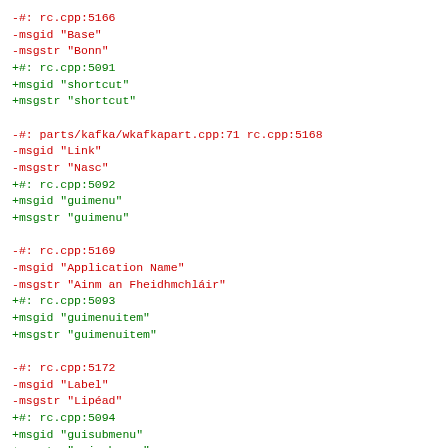-#: rc.cpp:5166
-msgid "Base"
-msgstr "Bonn"
+#: rc.cpp:5091
+msgid "shortcut"
+msgstr "shortcut"
-#: parts/kafka/wkafkapart.cpp:71 rc.cpp:5168
-msgid "Link"
-msgstr "Nasc"
+#: rc.cpp:5092
+msgid "guimenu"
+msgstr "guimenu"
-#: rc.cpp:5169
-msgid "Application Name"
-msgstr "Ainm an Fheidhmchláir"
+#: rc.cpp:5093
+msgid "guimenuitem"
+msgstr "guimenuitem"
-#: rc.cpp:5172
-msgid "Label"
-msgstr "Lipéad"
+#: rc.cpp:5094
+msgid "guisubmenu"
+msgstr "guisubmenu"
-#: rc.cpp:5173
-msgid "Menu"